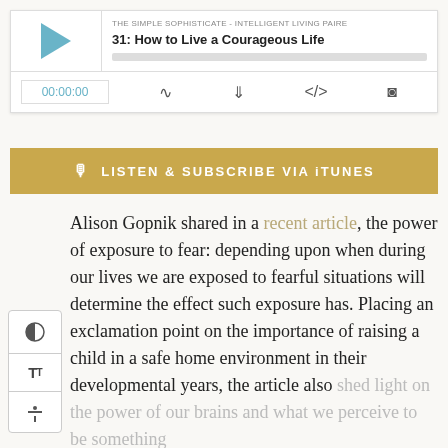[Figure (screenshot): Audio player widget showing podcast episode: THE SIMPLE SOPHISTICATE - INTELLIGENT LIVING PAIRE, episode 31: How to Live a Courageous Life. Controls show 00:00:00 time, play button, progress bar, and icons for subscribe, download, embed, and settings.]
[Figure (screenshot): Gold banner button with microphone icon reading: LISTEN & SUBSCRIBE VIA iTUNES]
[Figure (screenshot): Side toolbar with contrast, font size, and strikethrough/underline buttons]
Alison Gopnik shared in a recent article, the power of exposure to fear: depending upon when during our lives we are exposed to fearful situations will determine the effect such exposure has. Placing an exclamation point on the importance of raising a child in a safe home environment in their developmental years, the article also shed light on the power of our brains and what we perceive to be something